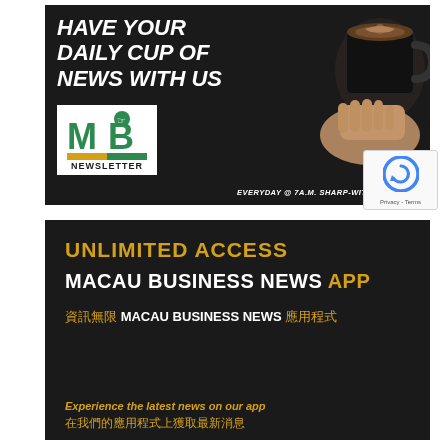[Figure (illustration): MB Newsletter advertisement on dark background. Shows bold italic white headline 'HAVE YOUR DAILY CUP OF NEWS WITH US', MB Newsletter logo with green M and B letters, colorful bar, and NEWSLETTER text. Photo of hand holding coffee cup visible on right. Tagline reads 'EVERYDAY @ 7A.M. SHARP-WITTED. ONLINE.']
[Figure (illustration): Macau Business News App advertisement on dark background. Shows 'UNLIMITED ACCESS' in gold text, 'MACAU BUSINESS NEWS APP' in white and gold. Chinese text '資訊無限 MACAU BUSINESS NEWS 應用程式'. Also shows 'Experience the latest news on our app' in gold italic and Chinese '在我們的應用程式上獲取最新消息' in gold.]